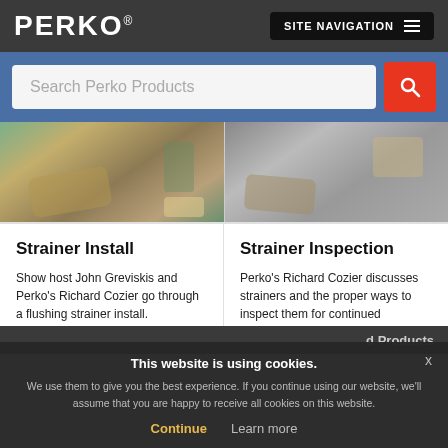PERKO® SITE NAVIGATION
Search Perko Products
[Figure (screenshot): Two side-by-side video thumbnails showing hands working with marine strainer products outdoors]
Strainer Install
Show host John Greviskis and Perko's Richard Cozier go through a flushing strainer install.
Strainer Inspection
Perko's Richard Cozier discusses strainers and the proper ways to inspect them for continued functionality.
This website is using cookies.
We use them to give you the best experience. If you continue using our website, we'll assume that you are happy to receive all cookies on this website.
Continue   Learn more